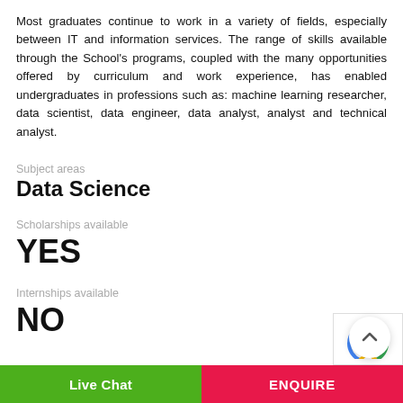Most graduates continue to work in a variety of fields, especially between IT and information services. The range of skills available through the School's programs, coupled with the many opportunities offered by curriculum and work experience, has enabled undergraduates in professions such as: machine learning researcher, data scientist, data engineer, data analyst, analyst and technical analyst.
Subject areas
Data Science
Scholarships available
YES
Internships available
NO
Live Chat | ENQUIRE